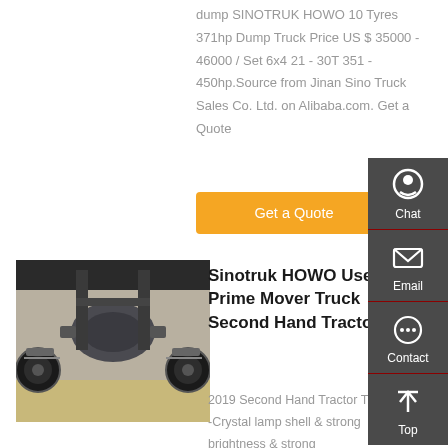dump SINOTRUK HOWO 10 Tyres 371hp Dump Truck Price US $ 35000 - 46000 / Set 6x4 21 - 30T 351 - 450hp.Source from Jinan Sino Truck Sales Co. Ltd. on Alibaba.com. Get a Quote
Get a Quote
[Figure (photo): Undercarriage/axle view of a heavy truck, showing rear axle, suspension, and wheels from below]
Sinotruk HOWO Used Prime Mover Truck Second Hand Tractor ...
2019 Second Hand Tractor Truck. -Crystal lamp shell & strong brightness & strong